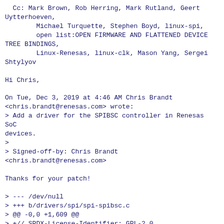Cc: Mark Brown, Rob Herring, Mark Rutland, Geert Uytterhoeven,
        Michael Turquette, Stephen Boyd, linux-spi,
        open list:OPEN FIRMWARE AND FLATTENED DEVICE TREE BINDINGS,
        Linux-Renesas, linux-clk, Mason Yang, Sergei Shtylyov

Hi Chris,

On Tue, Dec 3, 2019 at 4:46 AM Chris Brandt <chris.brandt@renesas.com> wrote:
> Add a driver for the SPIBSC controller in Renesas SoC devices.
>
> Signed-off-by: Chris Brandt <chris.brandt@renesas.com>

Thanks for your patch!

> --- /dev/null
> +++ b/drivers/spi/spi-spibsc.c
> @@ -0,0 +1,609 @@
> +// SPDX-License-Identifier: GPL-2.0

GPL-2.0-only

> +static void spibsc_print_data(struct spibsc_priv *sbsc, u8 tx, const u8 *buf,
> +                              int len)